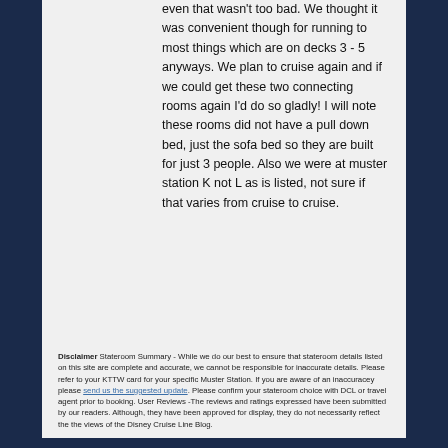even that wasn't too bad. We thought it was convenient though for running to most things which are on decks 3 - 5 anyways. We plan to cruise again and if we could get these two connecting rooms again I'd do so gladly! I will note these rooms did not have a pull down bed, just the sofa bed so they are built for just 3 people. Also we were at muster station K not L as is listed, not sure if that varies from cruise to cruise.
Disclaimer Stateroom Summary - While we do our best to ensure that stateroom details listed on this site are complete and accurate, we cannot be responsible for inaccurate details. Please refer to your KTTW card for your specific Muster Station. If you are aware of an inaccuracey please send us the suggested update. Please confirm your stateroom choice with DCL or travel agent prior to booking. User Reviews -The reviews and ratings expressed have been submitted by our readers. Although, they have been approved for display, they do not necessarily reflect the the views of the Disney Cruise Line Blog.